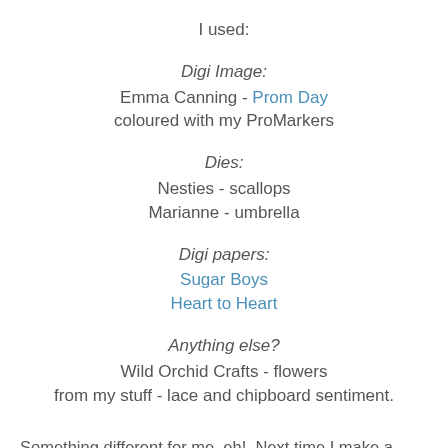I used:
Digi Image:
Emma Canning - Prom Day
coloured with my ProMarkers
Dies:
Nesties - scallops
Marianne - umbrella
Digi papers:
Sugar Boys
Heart to Heart
Anything else?
Wild Orchid Crafts - flowers
from my stuff - lace and chipboard sentiment.
Something different for me, eh!  Next time I make a round card though, I will try to get it to sit straight!!